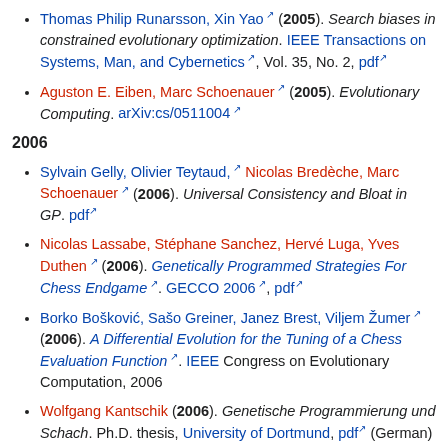Thomas Philip Runarsson, Xin Yao (2005). Search biases in constrained evolutionary optimization. IEEE Transactions on Systems, Man, and Cybernetics, Vol. 35, No. 2, pdf
Aguston E. Eiben, Marc Schoenauer (2005). Evolutionary Computing. arXiv:cs/0511004
2006
Sylvain Gelly, Olivier Teytaud, Nicolas Bredèche, Marc Schoenauer (2006). Universal Consistency and Bloat in GP. pdf
Nicolas Lassabe, Stéphane Sanchez, Hervé Luga, Yves Duthen (2006). Genetically Programmed Strategies For Chess Endgame. GECCO 2006, pdf
Borko Bošković, Sašo Greiner, Janez Brest, Viljem Žumer (2006). A Differential Evolution for the Tuning of a Chess Evaluation Function. IEEE Congress on Evolutionary Computation, 2006
Wolfgang Kantschik (2006). Genetische Programmierung und Schach. Ph.D. thesis, University of Dortmund, pdf (German)
Simon Lucas, Thomas Philip Runarsson (2006). Temporal